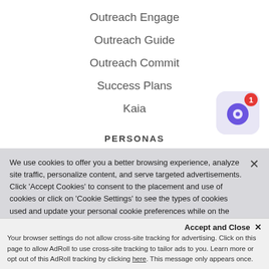Outreach Engage
Outreach Guide
Outreach Commit
Success Plans
Kaia
[Figure (illustration): Notification bell/icon with red badge showing number 1, purple icon on light purple rounded square background]
PERSONAS
We use cookies to offer you a better browsing experience, analyze site traffic, personalize content, and serve targeted advertisements. Click 'Accept Cookies' to consent to the placement and use of cookies or click on 'Cookie Settings' to see the types of cookies used and update your personal cookie preferences while on the site. We will handle your contact details in line with our Privacy Policy.
Accept and Close ×
Your browser settings do not allow cross-site tracking for advertising. Click on this page to allow AdRoll to use cross-site tracking to tailor ads to you. Learn more or opt out of this AdRoll tracking by clicking here. This message only appears once.